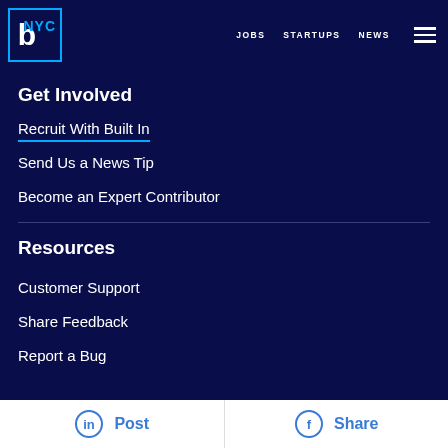Built In NYC — JOBS  STARTUPS  NEWS
Get Involved
Recruit With Built In
Send Us a News Tip
Become an Expert Contributor
Resources
Customer Support
Share Feedback
Report a Bug
Post  Share